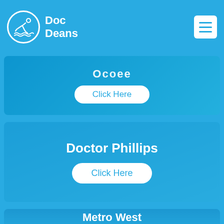Doc Deans
[Figure (screenshot): Doc Deans website screenshot showing navigation header with logo (swimmer icon) and hamburger menu, followed by location section cards for Ocoee, Doctor Phillips, and Metro West each with a 'Click Here' button]
Ocoee
Click Here
Doctor Phillips
Click Here
Metro West